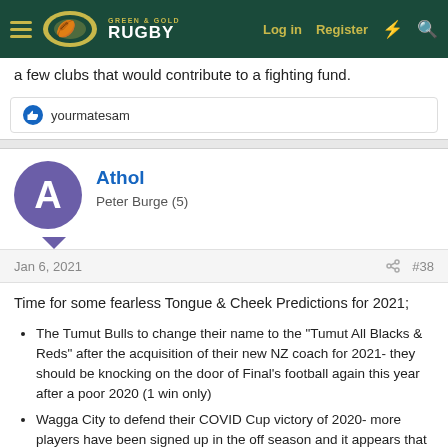Green & Gold Rugby — Log in | Register
a few clubs that would contribute to a fighting fund.
👍 yourmatesam
Athol
Peter Burge (5)
Jan 6, 2021  #38
Time for some fearless Tongue & Cheek Predictions for 2021;
The Tumut Bulls to change their name to the "Tumut All Blacks & Reds" after the acquisition of their new NZ coach for 2021- they should be knocking on the door of Final's football again this year after a poor 2020 (1 win only)
Wagga City to defend their COVID Cup victory of 2020- more players have been signed up in the off season and it appears that certain Group 9 Wagga Rugby League teams have become the providers of these players both